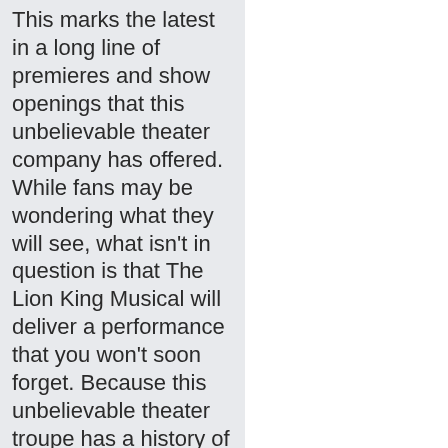This marks the latest in a long line of premieres and show openings that this unbelievable theater company has offered. While fans may be wondering what they will see, what isn't in question is that The Lion King Musical will deliver a performance that you won't soon forget. Because this unbelievable theater troupe has a history of delivering top-quality entertainment that successfully blends modern theatrical